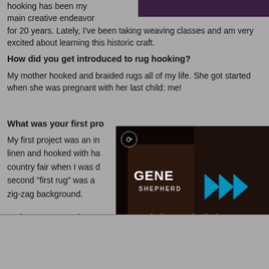hooking has been my main creative endeavor for 20 years. Lately, I've been taking weaving classes and am very excited about learning this historic craft.
How did you get introduced to rug hooking?
My mother hooked and braided rugs all of my life. She got started when she was pregnant with her last child: me!
What was your first project?
My first project was an in... linen and hooked with ha... country fair when I was d... second "first rug" was a ... zig-zag background.
[Figure (screenshot): Video overlay showing Gene Shepherd with play button controls and mute icon]
Is there one rug that stands out to being particularly memorable?
Emmy, the rug of the little girl blowing bubbles, caused a lot of excitement and recognition for me. As a rug hooking